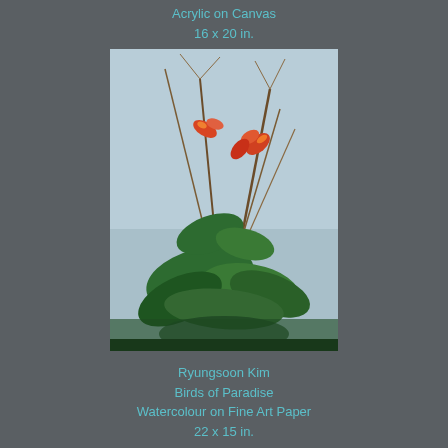Acrylic on Canvas
16 x 20 in.
[Figure (illustration): Painting of Birds of Paradise tropical flowers with red blooms and green foliage on a blue-grey background]
Ryungsoon Kim
Birds of Paradise
Watercolour on Fine Art Paper
22 x 15 in.
[Figure (illustration): Painting of a suburban street scene with a bare tree, cyclist on a path, parked cars, and warm yellow-orange sky]
Simone Sullivan